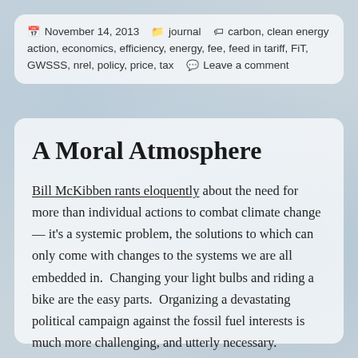November 14, 2013   journal   carbon, clean energy action, economics, efficiency, energy, fee, feed in tariff, FiT, GWSSS, nrel, policy, price, tax   Leave a comment
A Moral Atmosphere
Bill McKibben rants eloquently about the need for more than individual actions to combat climate change — it's a systemic problem, the solutions to which can only come with changes to the systems we are all embedded in.  Changing your light bulbs and riding a bike are the easy parts.  Organizing a devastating political campaign against the fossil fuel interests is much more challenging, and utterly necessary.